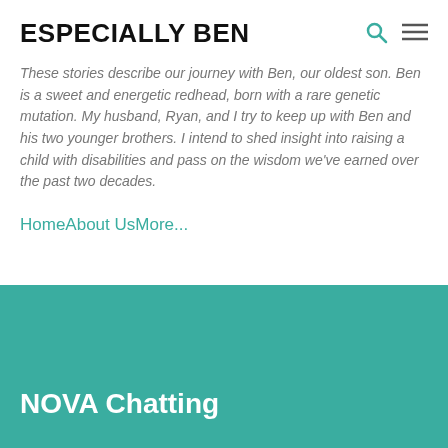ESPECIALLY BEN
These stories describe our journey with Ben, our oldest son. Ben is a sweet and energetic redhead, born with a rare genetic mutation. My husband, Ryan, and I try to keep up with Ben and his two younger brothers. I intend to shed insight into raising a child with disabilities and pass on the wisdom we've earned over the past two decades.
Home
About Us
More...
NOVA Chatting